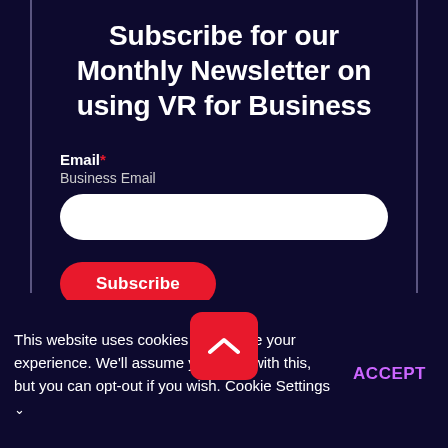Subscribe for our Monthly Newsletter on using VR for Business
Email* Business Email
[Figure (screenshot): White rounded input field for email entry]
Subscribe
This website uses cookies to improve your experience. We'll assume you're ok with this, but you can opt-out if you wish. Cookie Settings
ACCEPT